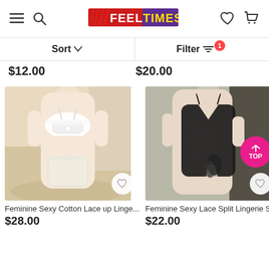FEELTIMES — navigation header with menu, search, wishlist, and cart icons
Sort  Filter 1
$12.00   $20.00
[Figure (photo): White feminine sexy cotton lace lingerie set on model]
Feminine Sexy Cotton Lace up Linge...
$28.00
[Figure (photo): Black feminine sexy lace split lingerie set on model]
Feminine Sexy Lace Split Lingerie Set
$22.00